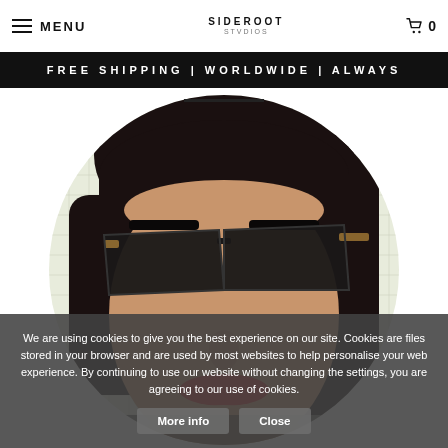MENU | SIDEROOT | 0
SHINING HAPPY PEOPLE
FREE SHIPPING | WORLDWIDE | ALWAYS
[Figure (photo): Circular cropped photo of a woman with dark hair, bold eyebrows, large black cat-eye sunglasses with wooden arms, red lipstick, and a lip piercing. Background appears to be a light-colored grid or graph paper.]
We are using cookies to give you the best experience on our site. Cookies are files stored in your browser and are used by most websites to help personalise your web experience. By continuing to use our website without changing the settings, you are agreeing to our use of cookies.
More info   Close